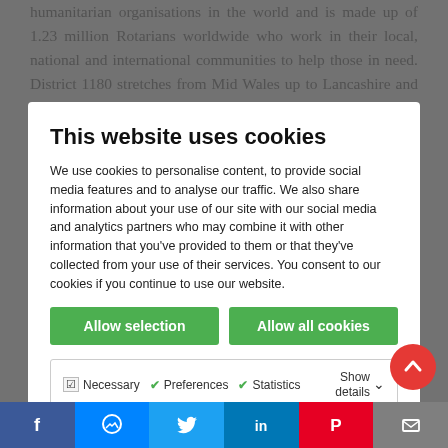humanitarian organisations in the world and is made up of 1.23 million Rotarians worldwide who work in their local, national and international communities to help those in need. District 1180 stretches from Mid Wales up to Lancashire and includes all of North Wales, Wirral, Merseyside, parts of Shropshire and all of Cheshire. Rotary clubs exist in most towns and are made up of men and women from 18 upwards from all backgrounds regardless of race, colour or creed. The Rotary motto is "Service Above Self". Rotarians work as volunteers in many diverse areas which can be anything from assisting young carers in the local community to have some time to themselves, to providing humanitarian aid to countries who have suffered a major disaster such as the Nepal earthquakes or the floods in
This website uses cookies
We use cookies to personalise content, to provide social media features and to analyse our traffic. We also share information about your use of our site with our social media and analytics partners who may combine it with other information that you've provided to them or that they've collected from your use of their services. You consent to our cookies if you continue to use our website.
Allow selection
Allow all cookies
Necessary  Preferences  Statistics  Show details  Marketing